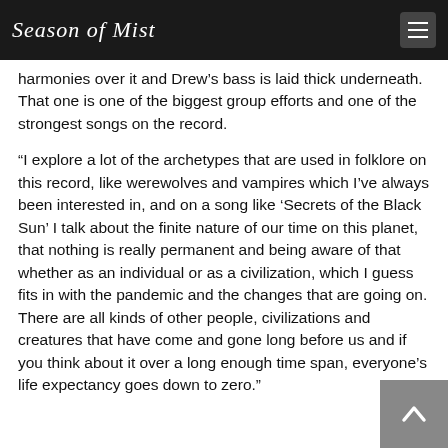Season of Mist
harmonies over it and Drew’s bass is laid thick underneath. That one is one of the biggest group efforts and one of the strongest songs on the record.
“I explore a lot of the archetypes that are used in folklore on this record, like werewolves and vampires which I’ve always been interested in, and on a song like ‘Secrets of the Black Sun’ I talk about the finite nature of our time on this planet, that nothing is really permanent and being aware of that whether as an individual or as a civilization, which I guess fits in with the pandemic and the changes that are going on. There are all kinds of other people, civilizations and creatures that have come and gone long before us and if you think about it over a long enough time span, everyone’s life expectancy goes down to zero.”